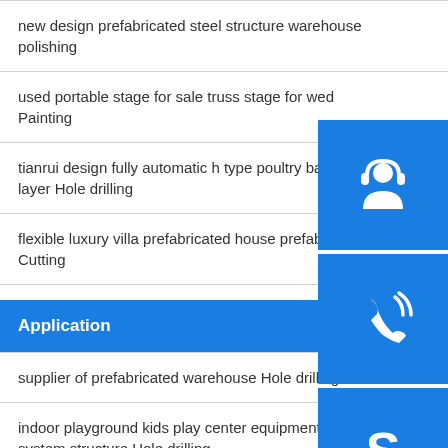new design prefabricated steel structure warehouse polishing
used portable stage for sale truss stage for wed... Painting
tianrui design fully automatic h type poultry batte... layer Hole drilling
flexible luxury villa prefabricated house prefab h... Cutting
Application
supplier of prefabricated warehouse Hole drilling
indoor playground kids play center equipment system structure Hole drilling